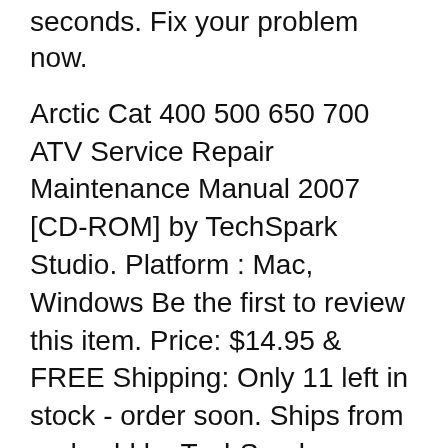seconds. Fix your problem now.
Arctic Cat 400 500 650 700 ATV Service Repair Maintenance Manual 2007 [CD-ROM] by TechSpark Studio. Platform : Mac, Windows Be the first to review this item. Price: $14.95 & FREE Shipping: Only 11 left in stock - order soon. Ships from and sold by TechSpark Workshop. Comprehensive Service and Repair Information covering Basic Vehicle Maintenance to Expert Overhauls. Interactive Flip Book Style A downloadable Arctic Cat Pantera 550 570 580 600 800 1000 repair manual is a digitally transmitted repair book from the manufacturer with instructions on how to maintain, repair or service a